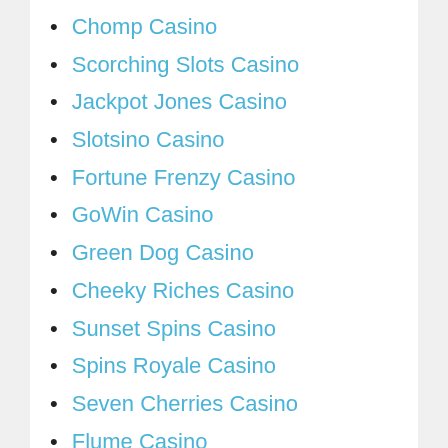Chomp Casino
Scorching Slots Casino
Jackpot Jones Casino
Slotsino Casino
Fortune Frenzy Casino
GoWin Casino
Green Dog Casino
Cheeky Riches Casino
Sunset Spins Casino
Spins Royale Casino
Seven Cherries Casino
Flume Casino
Arctic Spins Casino
Slots Devil Casino
The Sun Play Casino
Reel Vegas Casino
Fika Casino
Cloud Casino